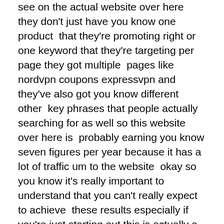see on the actual website over here they don't just have you know one product that they're promoting right or one keyword that they're targeting per page they got multiple pages like nordvpn coupons expressvpn and they've also got you know different other key phrases that people actually searching for as well so this website over here is probably earning you know seven figures per year because it has a lot of traffic um to the website okay so you know it's really important to understand that you can't really expect to achieve these results especially if you're just starting out this is actually a very very competitive niche because the commission rates are quite high right if we're actually talking about this product over here this is actually like a digital product or a virtual product and the profit margins for this company is going to be quite high and that's how they actually pay such a high sort of commission rate right so not every affiliate program pays such a high commission rate right so if we look at the amazon associates affiliate program and we can click onto here to learn how much do i earn from the program you'll actually find the commission